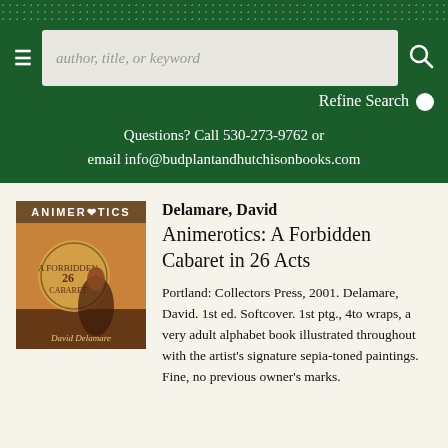author, title, or keyword | Refine Search | Questions? Call 530-273-9762 or email info@budplantandhutchisonbooks.com
[Figure (illustration): Book cover of Animerotics: A Forbidden Cabaret in 26 Acts by David Delamare, showing a sepia-toned illustration of a woman in lingerie with a large circular medallion design and the title text]
Delamare, David
Animerotics: A Forbidden Cabaret in 26 Acts
Portland: Collectors Press, 2001. Delamare, David. 1st ed. Softcover. 1st ptg., 4to wraps, a very adult alphabet book illustrated throughout with the artist's signature sepia-toned paintings. Fine, no previous owner's marks.